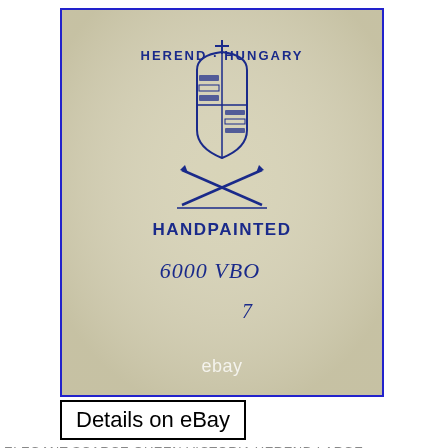[Figure (photo): Close-up photo of the underside of a Herend Hungary porcelain piece showing the maker's mark in blue ink. The mark includes the Herend Hungary coat of arms logo with crossed paintbrushes, text reading 'HEREND HUNGARY', 'HANDPAINTED', '6000 VBO', and '7'. An eBay watermark is visible at the bottom of the image. The photo has a blue rectangular border.]
Details on eBay
ELEGANT SCARCE QUEEN VICTORIA HEREND LARGE CHINA GREEN BORDER HEART SHAPED BON BON